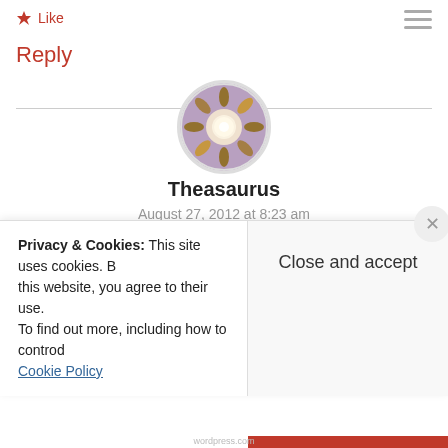Like
Reply
[Figure (photo): Circular avatar image showing hands forming a circle with light in center]
Theasaurus
August 27, 2012 at 8:23 am
I'm assuming you're an English teacher. I am too (as well as a communications lecturer) and here are some of my favourite term starters.
Privacy & Cookies: This site uses cookies. By continuing to use this website, you agree to their use. To find out more, including how to control cookies, see here: Cookie Policy
Close and accept